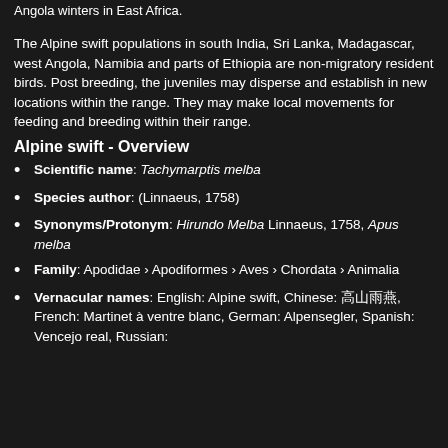Angola winters in East Africa.
The Alpine swift populations in south India, Sri Lanka, Madagascar, west Angola, Namibia and parts of Ethiopia are non-migratory resident birds. Post breeding, the juveniles may disperse and establish in new locations within the range. They may make local movements for feeding and breeding within their range.
Alpine swift - Overview
Scientific name: Tachymaerptis melba
Species author: (Linnaeus, 1758)
Synonyms/Protonym: Hirundo Melba Linnaeus, 1758, Apus melba
Family: Apodidae › Apodiformes › Aves › Chordata › Animalia
Vernacular names: English: Alpine swift, Chinese: 高山雨燕, French: Martinet à ventre blanc, German: Alpensegler, Spanish: Vencejo real, Russian: